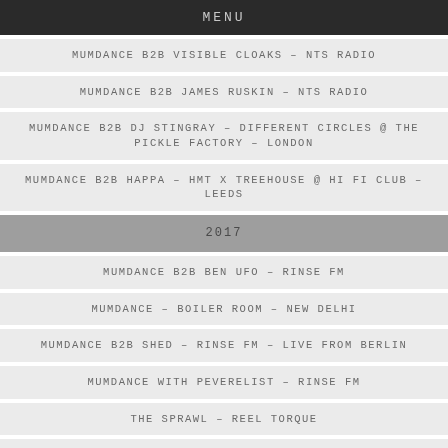MENU
MUMDANCE B2B VISIBLE CLOAKS – NTS RADIO
MUMDANCE B2B JAMES RUSKIN – NTS RADIO
MUMDANCE B2B DJ STINGRAY – DIFFERENT CIRCLES @ THE PICKLE FACTORY – LONDON
MUMDANCE B2B HAPPA – HMT X TREEHOUSE @ HI FI CLUB – LEEDS
2017
MUMDANCE B2B BEN UFO – RINSE FM
MUMDANCE – BOILER ROOM – NEW DELHI
MUMDANCE B2B SHED – RINSE FM – LIVE FROM BERLIN
MUMDANCE WITH PEVERELIST – RINSE FM
THE SPRAWL – REEL TORQUE
MUMDANCE B2B SURGEON – RINSE FM